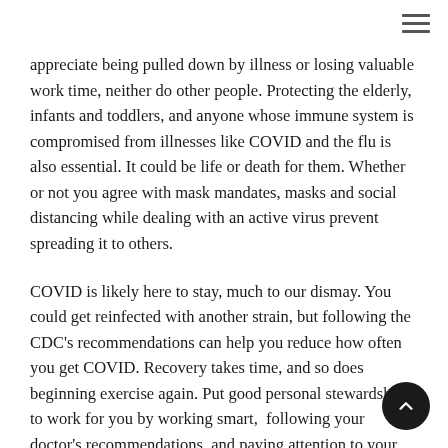appreciate being pulled down by illness or losing valuable work time, neither do other people. Protecting the elderly, infants and toddlers, and anyone whose immune system is compromised from illnesses like COVID and the flu is also essential. It could be life or death for them. Whether or not you agree with mask mandates, masks and social distancing while dealing with an active virus prevent spreading it to others.
COVID is likely here to stay, much to our dismay. You could get reinfected with another strain, but following the CDC's recommendations can help you reduce how often you get COVID. Recovery takes time, and so does beginning exercise again. Put good personal stewardship to work for you by working smart,  following your doctor's recommendations, and paying attention to your body's cues. Your body is not your own, it was bought by the blo of Jesus Christ (1 Corinthians 6:19-20), and you are to take care of it.